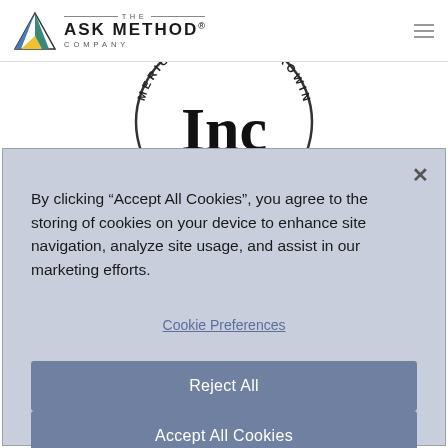[Figure (logo): The Ask Method Company logo with triangular mountain SVG icon and stylized text]
[Figure (logo): Inc. magazine America's Fastest Growing Companies circular badge (partially visible)]
By clicking “Accept All Cookies”, you agree to the storing of cookies on your device to enhance site navigation, analyze site usage, and assist in our marketing efforts.
Cookie Preferences
Reject All
Accept All Cookies